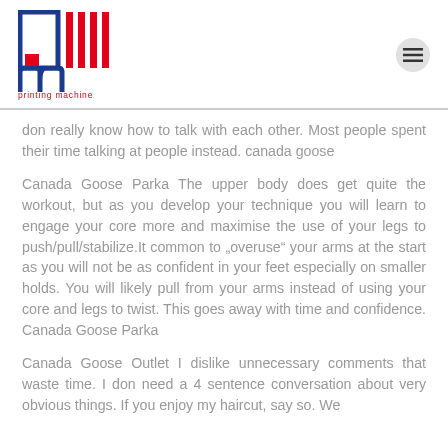[Figure (logo): Printing Machine logo with PM icon in blue and red, and text 'printing machine' below]
don really know how to talk with each other. Most people spent their time talking at people instead. canada goose
Canada Goose Parka The upper body does get quite the workout, but as you develop your technique you will learn to engage your core more and maximise the use of your legs to push/pull/stabilize.It common to „overuse“ your arms at the start as you will not be as confident in your feet especially on smaller holds. You will likely pull from your arms instead of using your core and legs to twist. This goes away with time and confidence. Canada Goose Parka
Canada Goose Outlet I dislike unnecessary comments that waste time. I don need a 4 sentence conversation about very obvious things. If you enjoy my haircut, say so. We